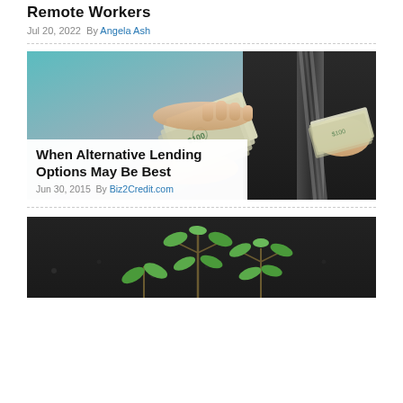Remote Workers
Jul 20, 2022 By Angela Ash
[Figure (photo): Person in suit handing fan of US dollar bills to another person]
When Alternative Lending Options May Be Best
Jun 30, 2015 By Biz2Credit.com
[Figure (photo): Small green plant seedlings growing from dark soil]